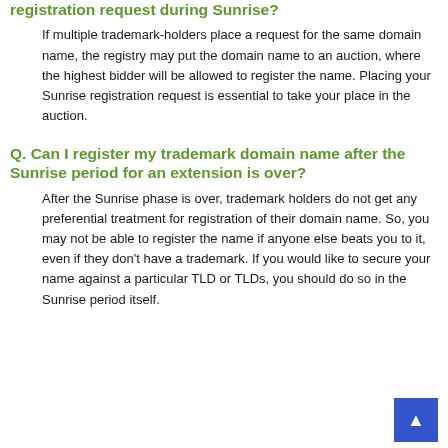registration request during Sunrise?
If multiple trademark-holders place a request for the same domain name, the registry may put the domain name to an auction, where the highest bidder will be allowed to register the name. Placing your Sunrise registration request is essential to take your place in the auction.
Q. Can I register my trademark domain name after the Sunrise period for an extension is over?
After the Sunrise phase is over, trademark holders do not get any preferential treatment for registration of their domain name. So, you may not be able to register the name if anyone else beats you to it, even if they don't have a trademark. If you would like to secure your name against a particular TLD or TLDs, you should do so in the Sunrise period itself.